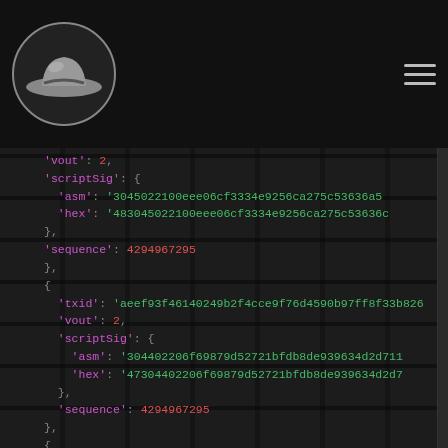EXPLORER
'vout': 2,
'scriptSig': {
  'asm': '3045022100eee06cf3334e9256ca275c53636a5
  'hex': '483045022100eee06cf3334e9256ca275c53636c
},
'sequence': 4294967295
},
{
  'txid': 'aeef93f46140249b2f4cce9f76d4590b97ff8f33b826
  'vout': 2,
  'scriptSig': {
    'asm': '304402206f69879d52721bfdb8de939634d2d711
    'hex': '47304402206f69879d52721bfdb8de939634d2d7
  },
  'sequence': 4294967295
},
{
  'txid': '9f97ceab277691013d97ca7ecaebdbdc22edb8d4e
  'vout': 2,
  'scriptSig': {
    'asm': '304402203d4eca46a1546e2808275425010a69:
    'hex': '4730440220